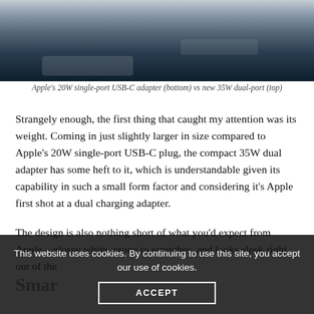[Figure (photo): Close-up photo of Apple USB-C power adapters on a wooden surface, showing the edge/bottom of the devices]
Apple's 20W single-port USB-C adapter (bottom) vs new 35W dual-port (top)
Strangely enough, the first thing that caught my attention was its weight. Coming in just slightly larger in size compared to Apple's 20W single-port USB-C plug, the compact 35W dual adapter has some heft to it, which is understandable given its capability in such a small form factor and considering it's Apple first shot at a dual charging adapter.
The design is also nothing short of what you'd expect from Apple – glossy white, prone to scratches, and looks sleek right out of the
This website uses cookies. By continuing to use this site, you accept our use of cookies.
ACCEPT